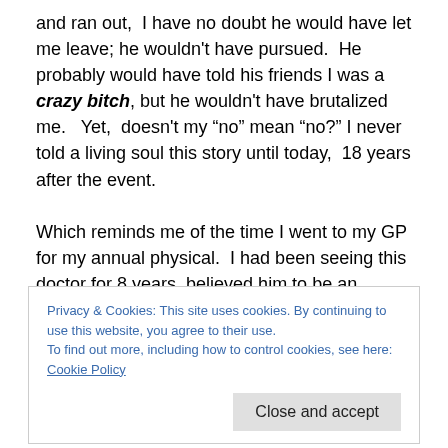and ran out, I have no doubt he would have let me leave; he wouldn't have pursued. He probably would have told his friends I was a crazy bitch, but he wouldn't have brutalized me. Yet, doesn't my “no” mean “no?” I never told a living soul this story until today, 18 years after the event.

Which reminds me of the time I went to my GP for my annual physical. I had been seeing this doctor for 8 years, believed him to be an excellent medical professional, and I trusted him. During my physical, he insisted on a pelvic
Privacy & Cookies: This site uses cookies. By continuing to use this website, you agree to their use.
To find out more, including how to control cookies, see here: Cookie Policy
Close and accept
didn't want